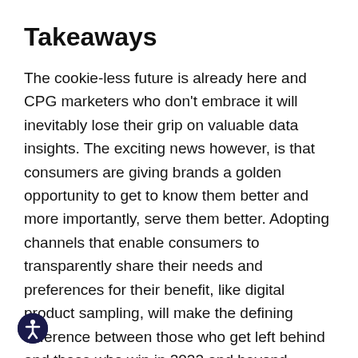Takeaways
The cookie-less future is already here and CPG marketers who don't embrace it will inevitably lose their grip on valuable data insights. The exciting news however, is that consumers are giving brands a golden opportunity to get to know them better and more importantly, serve them better. Adopting channels that enable consumers to transparently share their needs and preferences for their benefit, like digital product sampling, will make the defining difference between those who get left behind and those who win in 2022 and beyond.